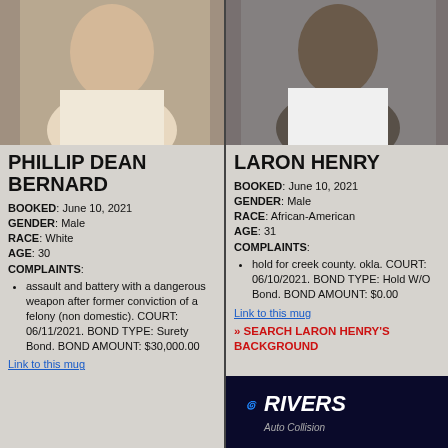[Figure (photo): Mugshot photo of Phillip Dean Bernard, white male]
[Figure (photo): Mugshot photo of Laron Henry, African-American male]
PHILLIP DEAN BERNARD
BOOKED: June 10, 2021
GENDER: Male
RACE: White
AGE: 30
COMPLAINTS:
assault and battery with a dangerous weapon after former conviction of a felony (non domestic). COURT: 06/11/2021. BOND TYPE: Surety Bond. BOND AMOUNT: $30,000.00
Link to this mug
LARON HENRY
BOOKED: June 10, 2021
GENDER: Male
RACE: African-American
AGE: 31
COMPLAINTS:
hold for creek county. okla. COURT: 06/10/2021. BOND TYPE: Hold W/O Bond. BOND AMOUNT: $0.00
Link to this mug
» SEARCH LARON HENRY'S BACKGROUND
[Figure (logo): Rivers Auto Collision advertisement logo]